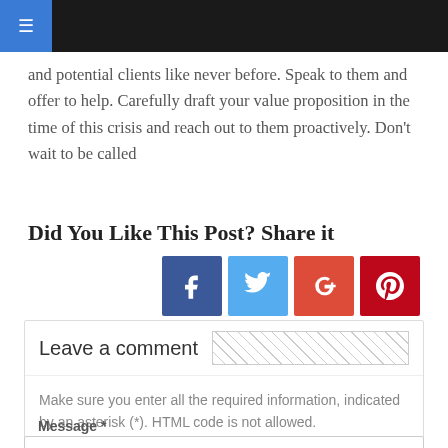Navigation bar with hamburger menu
and potential clients like never before. Speak to them and offer to help. Carefully draft your value proposition in the time of this crisis and reach out to them proactively. Don’t wait to be called
Did You Like This Post? Share it
[Figure (infographic): Social share buttons: Facebook (dark blue), Twitter (light blue), Google+ (red-orange), Pinterest (dark red)]
Leave a comment
Make sure you enter all the required information, indicated by an asterisk (*). HTML code is not allowed.
Message *